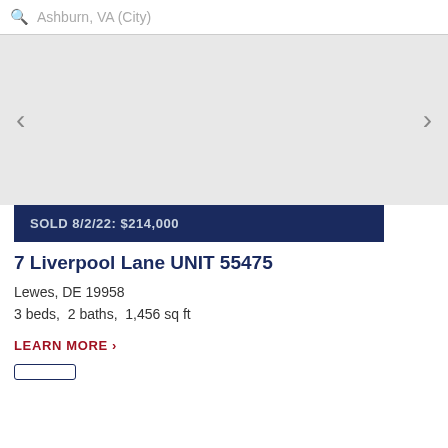Ashburn, VA (City)
[Figure (photo): Property photo carousel area with left and right navigation arrows, image area appears blank/unloaded]
SOLD 8/2/22: $214,000
7 Liverpool Lane UNIT 55475
Lewes, DE 19958
3 beds,  2 baths,  1,456 sq ft
LEARN MORE >